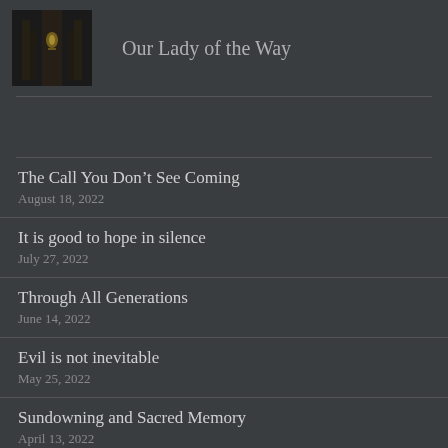Our Lady of the Way
The Call You Don't See Coming
August 18, 2022
It is good to hope in silence
July 27, 2022
Through All Generations
June 14, 2022
Evil is not inevitable
May 25, 2022
Sundowning and Sacred Memory
April 13, 2022
Washing His Feet